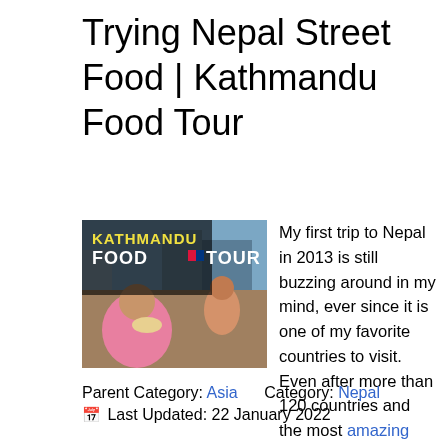Trying Nepal Street Food | Kathmandu Food Tour
[Figure (photo): Thumbnail image of Kathmandu Food Tour showing a person eating street food with text overlay 'KATHMANDU FOOD TOUR' and Nepalese flag icon]
My first trip to Nepal in 2013 is still buzzing around in my mind, ever since it is one of my favorite countries to visit. Even after more than 120 countries and the most amazing adventures around the world Nepal literally stands out! In this blog you can find my adventures looking for the best Nepal street food in Kathmandu, including a funny video.
Parent Category: Asia    Category: Nepal
🗓 Last Updated: 22 January 2022